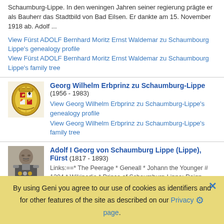Schaumburg-Lippe. In den weningen Jahren seiner regierung prägte er als Bauherr das Stadtbild von Bad Eilsen. Er dankte am 15. November 1918 ab. Adolf ...
View Fürst ADOLF Bernhard Moritz Ernst Waldemar zu Schaumbourg Lippe's genealogy profile
View Fürst ADOLF Bernhard Moritz Ernst Waldemar zu Schaumbourg Lippe's family tree
Georg Wilhelm Erbprinz zu Schaumburg-Lippe (1956 - 1983)
View Georg Wilhelm Erbprinz zu Schaumburg-Lippe's genealogy profile
View Georg Wilhelm Erbprinz zu Schaumburg-Lippe's family tree
Adolf I Georg von Schaumburg Lippe (Lippe), Fürst (1817 - 1893)
Links:==* The Peerage * Geneall * Johann the Younger # 1204 * Wikipedia * Prince of Schaumburg-Lippe: Reign 1860–1893> Predecessor: Georg Wilhelm Successor: Georg
View Adolf I Georg von Schaumburg Lippe, Fürst's genealogy
By using Geni you agree to our use of cookies as identifiers and for other features of the site as described on our Privacy page.